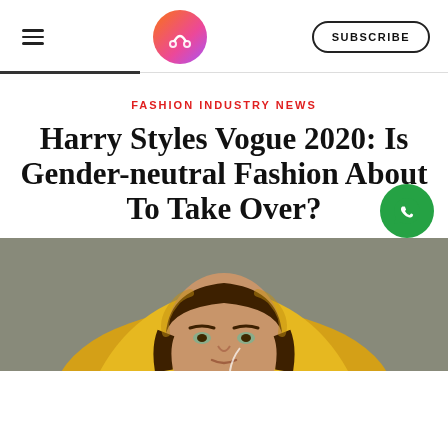SUBSCRIBE
[Figure (logo): Circular gradient logo with scissors icon in orange-pink-purple gradient]
FASHION INDUSTRY NEWS
Harry Styles Vogue 2020: Is Gender-neutral Fashion About To Take Over?
[Figure (photo): Close-up photo of a young man in a yellow hoodie, looking at camera with a subtle expression, outdoors with blurred background]